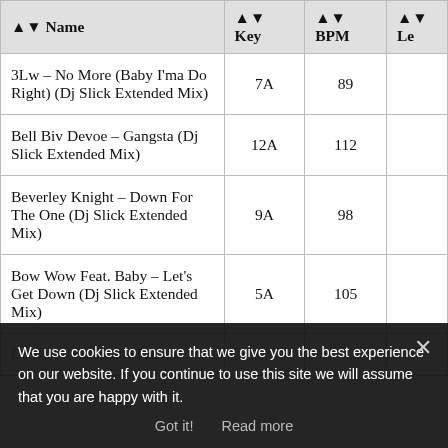| Name | Key | BPM | Le |
| --- | --- | --- | --- |
| 3Lw – No More (Baby I'ma Do Right) (Dj Slick Extended Mix) | 7A | 89 |  |
| Bell Biv Devoe – Gangsta (Dj Slick Extended Mix) | 12A | 112 |  |
| Beverley Knight – Down For The One (Dj Slick Extended Mix) | 9A | 98 |  |
| Bow Wow Feat. Baby – Let's Get Down (Dj Slick Extended Mix) | 5A | 105 |  |
| Da Brat – Funkdafied (Dj ... |  |  |  |
| Dc, Dre – Keep It Right (Dj Slick Extended Mix) | 9A | 01 |  |
We use cookies to ensure that we give you the best experience on our website. If you continue to use this site we will assume that you are happy with it. Got it! Read more